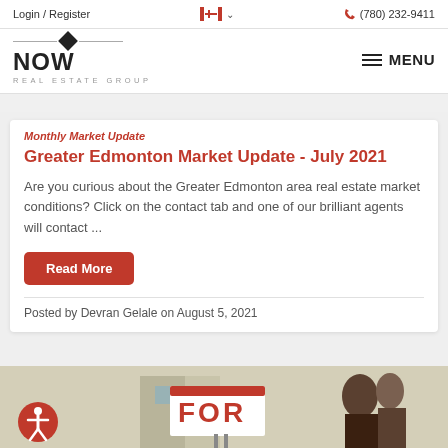Login / Register  (780) 232-9411
[Figure (logo): NOW Real Estate Group logo with diamond emblem and horizontal lines]
Monthly Market Update
Greater Edmonton Market Update - July 2021
Are you curious about the Greater Edmonton area real estate market conditions? Click on the contact tab and one of our brilliant agents will contact ...
Read More
Posted by Devran Gelale on August 5, 2021
[Figure (photo): Photo of people looking at a FOR SALE sign in front of a house]